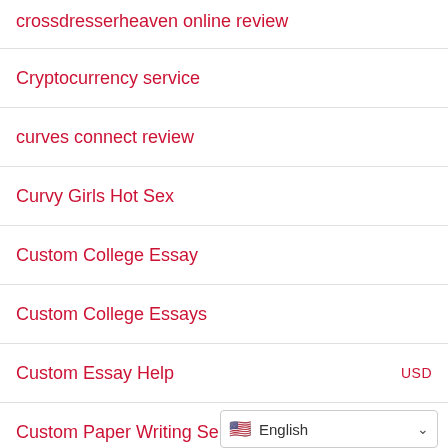crossdresserheaven online review
Cryptocurrency service
curves connect review
Curvy Girls Hot Sex
Custom College Essay
Custom College Essays
Custom Essay Help
Custom Paper Writing Services
Cute Mexican Brides
Cute Mexican Woman
cute russian girls
DaddyHunt review